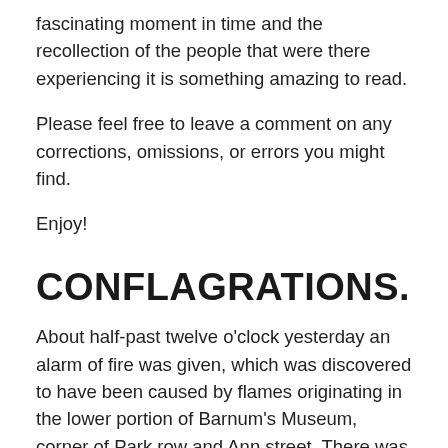fascinating moment in time and the recollection of the people that were there experiencing it is something amazing to read.
Please feel free to leave a comment on any corrections, omissions, or errors you might find.
Enjoy!
CONFLAGRATIONS.
About half-past twelve o'clock yesterday an alarm of fire was given, which was discovered to have been caused by flames originating in the lower portion of Barnum's Museum, corner of Park row and Ann street. There was immediately a grand rush for the burning district.
The scene on Broadway, fronting old St. Paul's, in the early stages of the fire, was an interesting and impressive one, and one which will not soon be